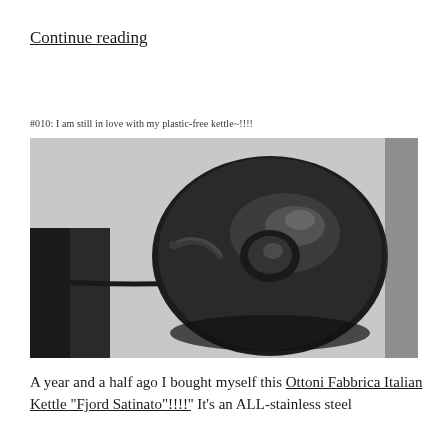Continue reading
#010: I am still in love with my plastic-free kettle~!!!!
[Figure (photo): Top-down view of a dark stainless steel kettle (Ottoni Fabbrica Italian Kettle Fjord Satinato) on a light grey fabric background, showing the spout, lid, and power cord extending to the left.]
A year and a half ago I bought myself this Ottoni Fabbrica Italian Kettle “Fjord Satinato”!!!!’’ It’s an ALL-stainless steel